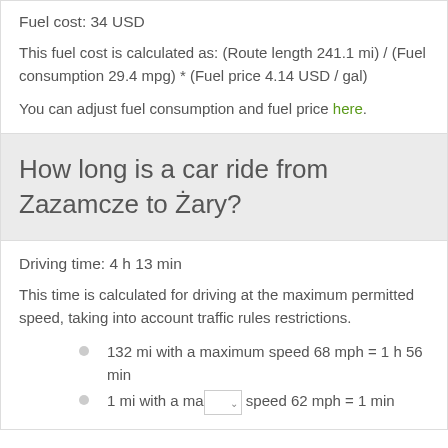Fuel cost: 34 USD
This fuel cost is calculated as: (Route length 241.1 mi) / (Fuel consumption 29.4 mpg) * (Fuel price 4.14 USD / gal)
You can adjust fuel consumption and fuel price here.
How long is a car ride from Zazamcze to Żary?
Driving time: 4 h 13 min
This time is calculated for driving at the maximum permitted speed, taking into account traffic rules restrictions.
132 mi with a maximum speed 68 mph = 1 h 56 min
1 mi with a maximum speed 62 mph = 1 min